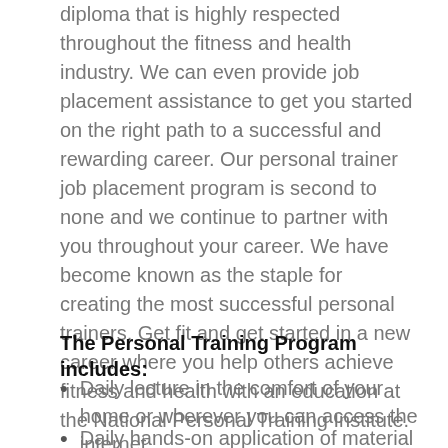diploma that is highly respected throughout the fitness and health industry. We can even provide job placement assistance to get you started on the right path to a successful and rewarding career. Our personal trainer job placement program is second to none and we continue to partner with you throughout your career. We have become known as the staple for creating the most successful personal trainers. Get fit and get started in a new career where you help others achieve fitness and health with an education at the National Personal Training Institute.
The Personal Training Program includes:
Daily lecture in the comfort of your home or wherever you can access the internet
Daily hands-on application of material with